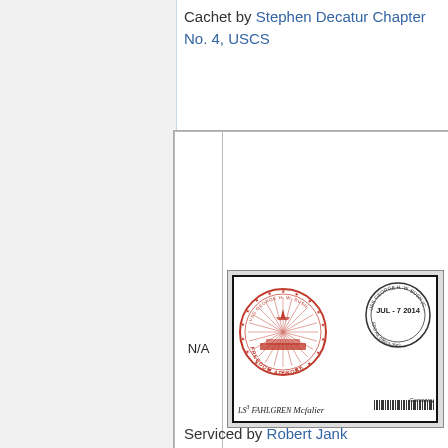Cachet by Stephen Decatur Chapter No. 4, USCS
|  | Image |
| --- | --- |
| N/A | [Envelope image with red seal cachet and postmark: USS GEORGE H. W. BUSH (CVN-77), JUL - 7 2014, FPO AE 09513-2693. Red circular seal: FREEDOM AT WORK. Signed: LS3 FAHLGREN. Germany barcode strip.] |
Serviced by Robert Jank